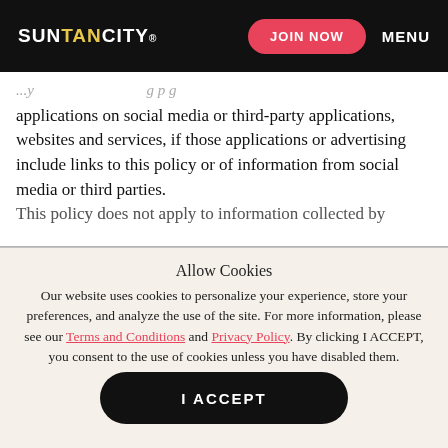SUN TAN CITY® | JOIN NOW | MENU
applications on social media or third-party applications, websites and services, if those applications or advertising include links to this policy or of information from social media or third parties. This policy does not apply to information collected by
Allow Cookies
Our website uses cookies to personalize your experience, store your preferences, and analyze the use of the site. For more information, please see our Terms and Conditions and Privacy Policy. By clicking I ACCEPT, you consent to the use of cookies unless you have disabled them.
I ACCEPT